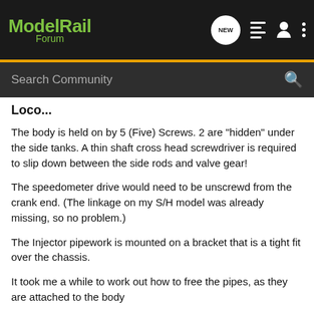ModelRail Forum
Loco...
The body is held on by 5 (Five) Screws. 2 are "hidden" under the side tanks. A thin shaft cross head screwdriver is required to slip down between the side rods and valve gear!
The speedometer drive would need to be unscrewd from the crank end. (The linkage on my S/H model was already missing, so no problem.)
The Injector pipework is mounted on a bracket that is a tight fit over the chassis.
It took me a while to work out how to free the pipes, as they are attached to the body